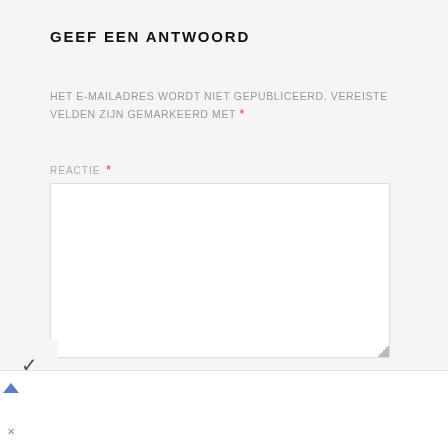GEEF EEN ANTWOORD
HET E-MAILADRES WORDT NIET GEPUBLICEERD. VEREISTE VELDEN ZIJN GEMARKEERD MET *
REACTIE *
[Figure (screenshot): Empty text area input box for comment/reactie submission]
[Figure (infographic): Advertisement banner: Petco logo, 'Your One-Stop Summer Pet Shop', Petco link, navigation arrow icon]